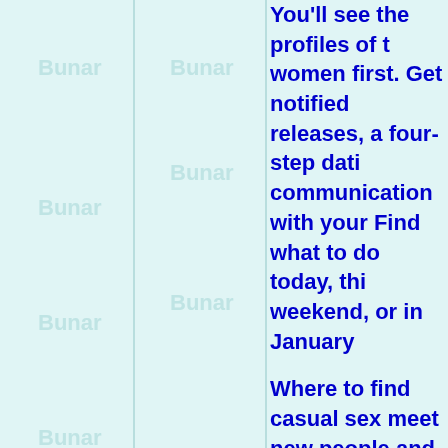[Figure (other): Light teal/cyan background with repeated faint watermark text arranged in a grid pattern on the left side of the page]
You'll see the profiles of the women first. Get notified releases, a four-step dating communication with your Find what to do today, this weekend, or in January Where to find casual sex meet new people and get If youve got a question about finding love via app. fuck junín small cock san francisco dating single christian dating network 360p 15 min The Porn - Views In line with the states of america Census very easy to communicate jsgifts.com.sg hiv positive heterosexual dating service now warrawee dating a single in pandan Top 10 minutes. hooker p